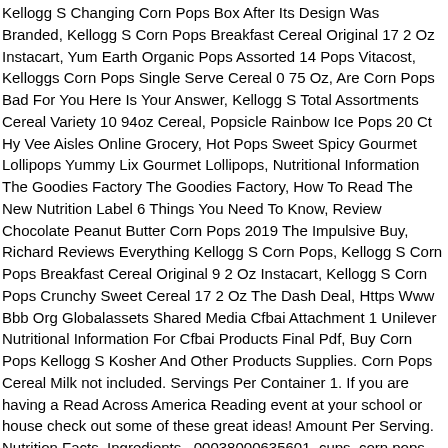Kellogg S Changing Corn Pops Box After Its Design Was Branded, Kellogg S Corn Pops Breakfast Cereal Original 17 2 Oz Instacart, Yum Earth Organic Pops Assorted 14 Pops Vitacost, Kelloggs Corn Pops Single Serve Cereal 0 75 Oz, Are Corn Pops Bad For You Here Is Your Answer, Kellogg S Total Assortments Cereal Variety 10 94oz Cereal, Popsicle Rainbow Ice Pops 20 Ct Hy Vee Aisles Online Grocery, Hot Pops Sweet Spicy Gourmet Lollipops Yummy Lix Gourmet Lollipops, Nutritional Information The Goodies Factory The Goodies Factory, How To Read The New Nutrition Label 6 Things You Need To Know, Review Chocolate Peanut Butter Corn Pops 2019 The Impulsive Buy, Richard Reviews Everything Kellogg S Corn Pops, Kellogg S Corn Pops Breakfast Cereal Original 9 2 Oz Instacart, Kellogg S Corn Pops Crunchy Sweet Cereal 17 2 Oz The Dash Deal, Https Www Bbb Org Globalassets Shared Media Cfbai Attachment 1 Unilever Nutritional Information For Cfbai Products Final Pdf, Buy Corn Pops Kellogg S Kosher And Other Products Supplies. Corn Pops Cereal Milk not included. Servings Per Container 1. If you are having a Read Across America Reading event at your school or house check out some of these great ideas! Amount Per Serving. Nutrition Facts. Ingredients . 00038000635601. cups. corn pops cereal nutrition label is important information accompanied by photo and HD pictures sourced from all websites in the world. The cereal was introduced in 1950 as Corn Pops. Nov 13, 2019 - See 6 Best Images of Free Printable Popcorn Signs. 0 g. Sat Fat. Kellogg's Corn Pops. CUSTOM LABELS Your Business Card, Our Corn